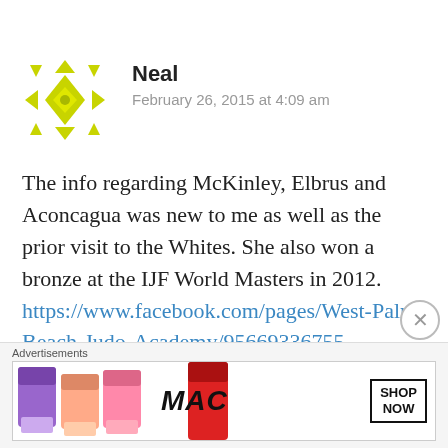[Figure (illustration): Yellow/green decorative avatar icon with geometric snowflake-like pattern, used as user profile image]
Neal
February 26, 2015 at 4:09 am
The info regarding McKinley, Elbrus and Aconcagua was new to me as well as the prior visit to the Whites. She also won a bronze at the IJF World Masters in 2012. https://www.facebook.com/pages/West-Palm-Beach-Judo-Academy/95669336755
Advertisements
[Figure (photo): MAC Cosmetics advertisement banner showing colorful lipsticks (purple, peach, pink, red) with MAC logo and SHOP NOW button]